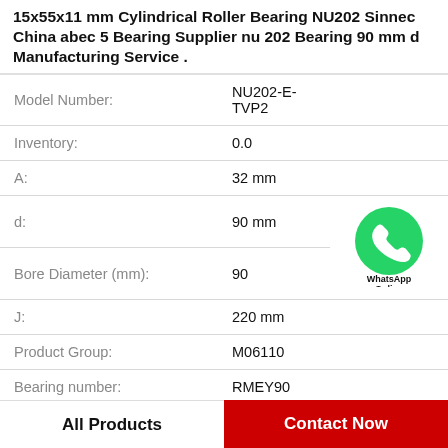15x55x11 mm Cylindrical Roller Bearing NU202 Sinnec China abec 5 Bearing Supplier nu 202 Bearing 90 mm d Manufacturing Service .
| Property | Value |
| --- | --- |
| Model Number: | NU202-E-TVP2 |
| Inventory: | 0.0 |
| A: | 32 mm |
| d: | 90 mm |
| Bore Diameter (mm): | 90 |
| J: | 220 mm |
| Product Group: | M06110 |
| Bearing number: | RMEY90 |
[Figure (logo): WhatsApp Online contact icon — green circle with white phone handset, text 'WhatsApp Online' below]
All Products
Contact Now